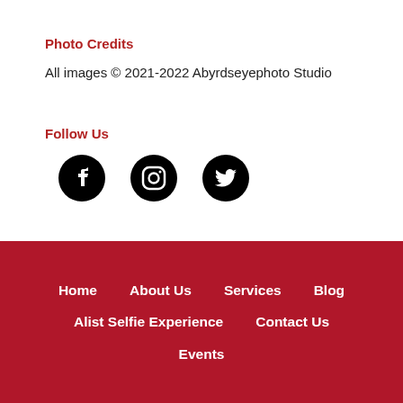Photo Credits
All images © 2021-2022 Abyrdseyephoto Studio
Follow Us
[Figure (illustration): Social media icons: Facebook, Instagram, Twitter]
Home   About Us   Services   Blog   Alist Selfie Experience   Contact Us   Events